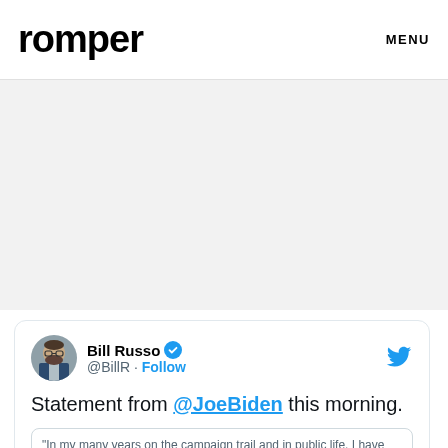romper  MENU
[Figure (other): Gray advertisement/image placeholder area]
Bill Russo @BillR · Follow
Statement from @JoeBiden this morning.
"In my many years on the campaign trail and in public life, I have offered..."